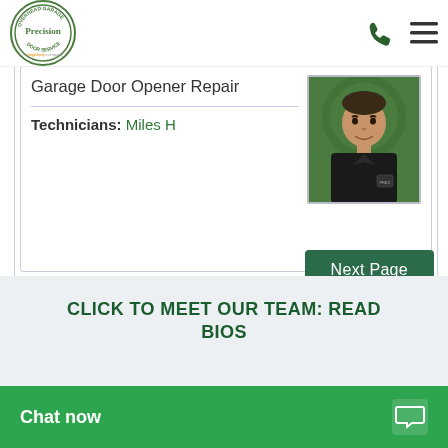Precision Door Service — a Neighborly company
Garage Door Opener Repair
Technicians: Miles H
[Figure (photo): Photo of technician Miles H wearing a black Precision Door Service uniform shirt, photographed against a green Precision Door Service branded background.]
Next Page
CLICK TO MEET OUR TEAM: READ BIOS
Chat now